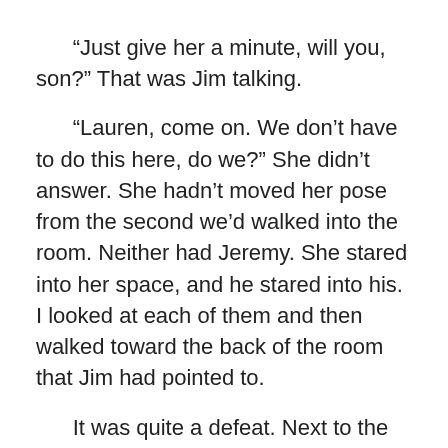“Just give her a minute, will you, son?” That was Jim talking.
“Lauren, come on. We don’t have to do this here, do we?” She didn’t answer. She hadn’t moved her pose from the second we’d walked into the room. Neither had Jeremy. She stared into her space, and he stared into his. I looked at each of them and then walked toward the back of the room that Jim had pointed to.
It was quite a defeat. Next to the bed there were probably a dozen boxes. It turns